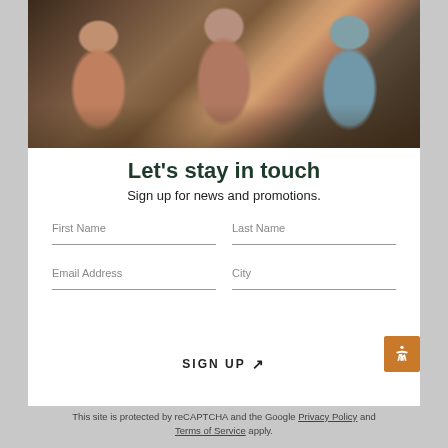[Figure (photo): Three women smiling and holding wine glasses at a restaurant table with food]
Let's stay in touch
Sign up for news and promotions.
First Name
Last Name
Email Address
City
SIGN UP ↗
This site is protected by reCAPTCHA and the Google Privacy Policy and Terms of Service apply.